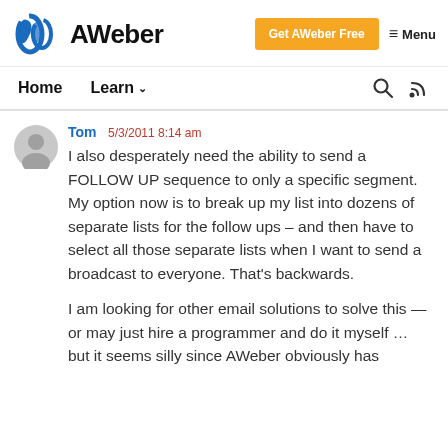AWeber | Get AWeber Free | Menu
Home | Learn
Tom 5/3/2011 8:14 am
I also desperately need the ability to send a FOLLOW UP sequence to only a specific segment. My option now is to break up my list into dozens of separate lists for the follow ups – and then have to select all those separate lists when I want to send a broadcast to everyone. That's backwards.

I am looking for other email solutions to solve this — or may just hire a programmer and do it myself … but it seems silly since AWeber obviously has